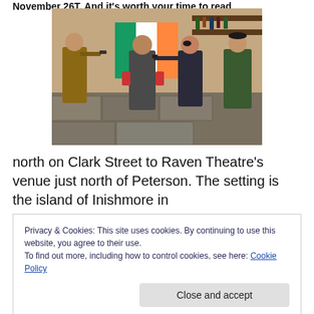November 26T. And it's worth your time to read
[Figure (photo): Theater production photo showing four actors on stage in an Irish pub setting; one actor in the center stands with hands raised while three others point guns at him]
north on Clark Street to Raven Theatre's venue just north of Peterson. The setting is the island of Inishmore in
Privacy & Cookies: This site uses cookies. By continuing to use this website, you agree to their use.
To find out more, including how to control cookies, see here: Cookie Policy
Close and accept